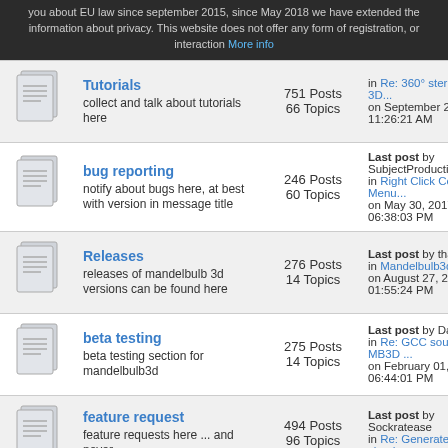you about EU law since september 2015, since May 2018 we have extended the information about privacy. This website does not offer any form of registration, or interaction More info
| Icon | Forum | Stats | Last Post |
| --- | --- | --- | --- |
| [icon] | Tutorials
collect and talk about tutorials here | 751 Posts
66 Topics | Last post by
in Re: 360° stereoscopic 3D...
on September 23, 2017, 11:26:21 AM |
| [icon] | bug reporting
notify about bugs here, at best with version in message title | 246 Posts
60 Topics | Last post by SubjectProductions
in Right Click Context Menu...
on May 30, 2017, 06:38:03 PM |
| [icon] | Releases
releases of mandelbulb 3d versions can be found here | 276 Posts
14 Topics | Last post by thargor6
in Mandelbulb3d v1.9.9
on August 27, 2017, 01:55:24 PM |
| [icon] | beta testing
beta testing section for mandelbulb3d | 275 Posts
14 Topics | Last post by DarkBeam
in Re: GCC sources of MB3D ...
on February 01, 2017, 06:44:01 PM |
| [icon] | feature request
feature requests here ... and never | 494 Posts
96 Topics | Last post by Sockratease
in Re: Generate point cloud... |